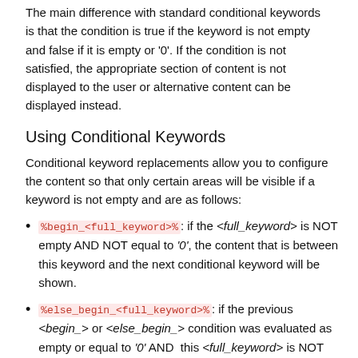The main difference with standard conditional keywords is that the condition is true if the keyword is not empty and false if it is empty or '0'. If the condition is not satisfied, the appropriate section of content is not displayed to the user or alternative content can be displayed instead.
Using Conditional Keywords
Conditional keyword replacements allow you to configure the content so that only certain areas will be visible if a keyword is not empty and are as follows:
%begin_<full_keyword>%: if the <full_keyword> is NOT empty AND NOT equal to '0', the content that is between this keyword and the next conditional keyword will be shown.
%else_begin_<full_keyword>%: if the previous <begin_> or <else_begin_> condition was evaluated as empty or equal to '0' AND this <full_keyword> is NOT empty AND NOT equal to '0', the content that is between this keyword and the next conditional